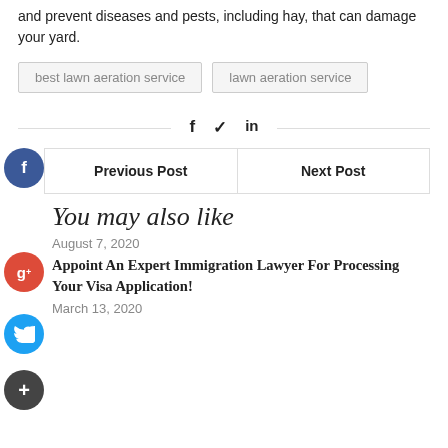and prevent diseases and pests, including hay, that can damage your yard.
best lawn aeration service
lawn aeration service
f  ✓  in
Previous Post | Next Post
You may also like
August 7, 2020
Appoint An Expert Immigration Lawyer For Processing Your Visa Application!
March 13, 2020